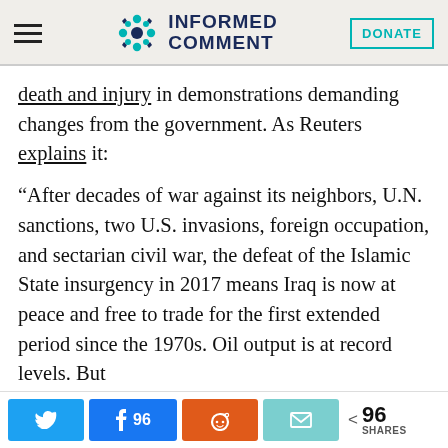INFORMED COMMENT
death and injury in demonstrations demanding changes from the government. As Reuters explains it:
“After decades of war against its neighbors, U.N. sanctions, two U.S. invasions, foreign occupation, and sectarian civil war, the defeat of the Islamic State insurgency in 2017 means Iraq is now at peace and free to trade for the first extended period since the 1970s. Oil output is at record levels. But
Twitter | Facebook 96 | Reddit | Email | < 96 SHARES